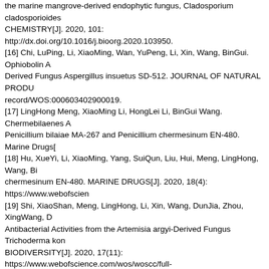the marine mangrove-derived endophytic fungus, Cladosporium cladosporioides. BIOORGANIC CHEMISTRY[J]. 2020, 101: http://dx.doi.org/10.1016/j.bioorg.2020.103950.
[16] Chi, LuPing, Li, XiaoMing, Wan, YuPeng, Li, Xin, Wang, BinGui. Ophiobolin A Derived Fungus Aspergillus insuetus SD-512. JOURNAL OF NATURAL PRODU record/WOS:000603402900019.
[17] LingHong Meng, XiaoMing Li, HongLei Li, BinGui Wang. Chermebilaenes A Penicillium bilaiae MA-267 and Penicillium chermesinum EN-480. Marine Drugs[
[18] Hu, XueYi, Li, XiaoMing, Yang, SuiQun, Liu, Hui, Meng, LingHong, Wang, Bi chermesinum EN-480. MARINE DRUGS[J]. 2020, 18(4): https://www.webofscien
[19] Shi, XiaoShan, Meng, LingHong, Li, Xin, Wang, DunJia, Zhou, XingWang, D Antibacterial Activities from the Artemisia argyi-Derived Fungus Trichoderma kon BIODIVERSITY[J]. 2020, 17(11): https://www.webofscience.com/wos/woscc/full-
[20] Chi, LuPing, Li, XiaoMing, Li, Xin, Wang, BinGui. New Antibacterial Thiodike 388. CHEMISTRY & BIODIVERSITY[J]. 2020, 17(8): https://www.webofscience.c
[21] Wang, YaNan, Meng, LingHong, Wang, BinGui. Progress in Research on Bio DRUGSnull. 2020, 18(12): https://www.ncbi.nlm.nih.gov/pmc/articles/PMC77615
[22] Li, HongLei, Li, XiaoMing, Yang, SuiQun, Cao, Jin, Li, YanHe, Wang, BinGui Aspergillus terreus EN-539 co-cultured with symbiotic fungus Paecilomyces lilaci 111, https://www.webofscience.com/wos/woscc/full-record/WOS:000507497100
[23] Lu, Fengyi, Li, Xiaoming, Chi, Luping, Meng, Linghong, Wang, Bingui. A new sediment of cold spring in the South China Sea. JOURNAL OF OCEANOLOGY A id=7102292174.
[24] Meng, LingHong, Li, XiaoMing, Zhang, FanZhong, Wang, YaNan, Wang, Bin